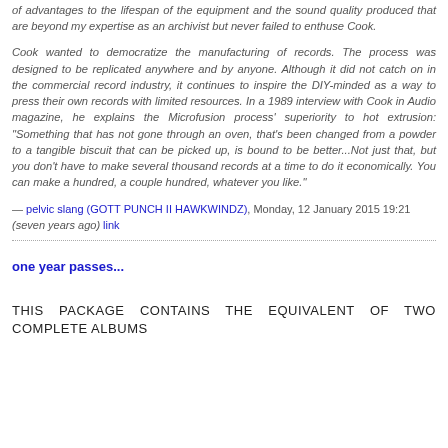of advantages to the lifespan of the equipment and the sound quality produced that are beyond my expertise as an archivist but never failed to enthuse Cook.
Cook wanted to democratize the manufacturing of records. The process was designed to be replicated anywhere and by anyone. Although it did not catch on in the commercial record industry, it continues to inspire the DIY-minded as a way to press their own records with limited resources. In a 1989 interview with Cook in Audio magazine, he explains the Microfusion process' superiority to hot extrusion: "Something that has not gone through an oven, that's been changed from a powder to a tangible biscuit that can be picked up, is bound to be better...Not just that, but you don't have to make several thousand records at a time to do it economically. You can make a hundred, a couple hundred, whatever you like."
— pelvic slang (GOTT PUNCH II HAWKWINDZ), Monday, 12 January 2015 19:21 (seven years ago) link
one year passes...
THIS PACKAGE CONTAINS THE EQUIVALENT OF TWO COMPLETE ALBUMS